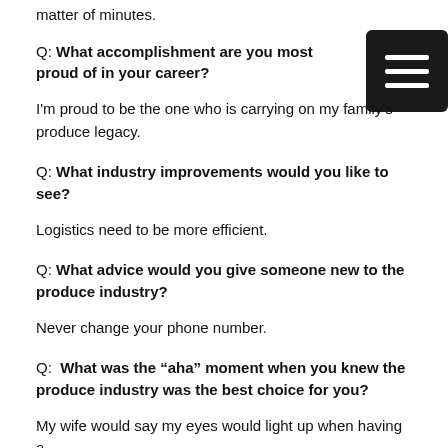matter of minutes.
Q: What accomplishment are you most proud of in your career?
I'm proud to be the one who is carrying on my family's produce legacy.
Q: What industry improvements would you like to see?
Logistics need to be more efficient.
Q: What advice would you give someone new to the produce industry?
Never change your phone number.
Q: What was the “aha” moment when you knew the produce industry was the best choice for you?
My wife would say my eyes would light up when having a